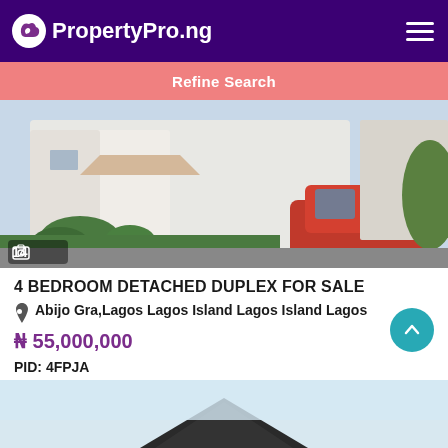PropertyPro.ng
Refine Search
[Figure (photo): Exterior photo of a white detached duplex with a red SUV parked in front, showing 14 images indicator]
4 BEDROOM DETACHED DUPLEX FOR SALE
Abijo Gra,Lagos Lagos Island Lagos Island Lagos
₦ 55,000,000
PID: 4FPJA
4 beds   4 baths   5 Toilets
[Figure (photo): Partial view of a second property listing image showing a dark rooftop against a light blue sky]